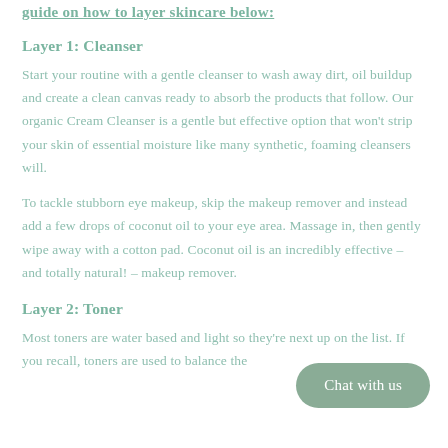guide on how to layer skincare below:
Layer 1: Cleanser
Start your routine with a gentle cleanser to wash away dirt, oil buildup and create a clean canvas ready to absorb the products that follow. Our organic Cream Cleanser is a gentle but effective option that won't strip your skin of essential moisture like many synthetic, foaming cleansers will.
To tackle stubborn eye makeup, skip the makeup remover and instead add a few drops of coconut oil to your eye area. Massage in, then gently wipe away with a cotton pad. Coconut oil is an incredibly effective – and totally natural! – makeup remover.
Layer 2: Toner
Most toners are water based and light so they're next up on the list. If you recall, toners are used to balance the...
[Figure (other): Chat with us button – a rounded pill-shaped button with muted green background and white text reading 'Chat with us']